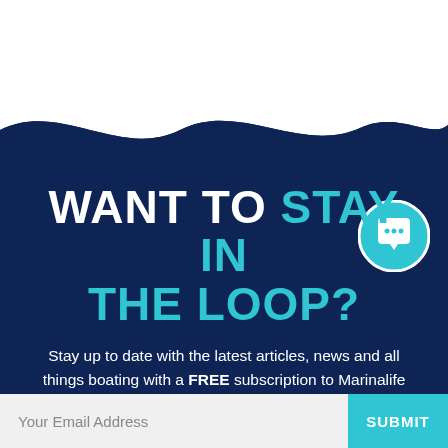[Figure (illustration): Wave-shaped divider separating white top area from navy blue background, with a chat/speech bubble icon circle in teal]
WANT TO STAY IN THE LOOP?
Stay up to date with the latest articles, news and all things boating with a FREE subscription to Marinalife Magazine!
Your Email Address  SUBMIT